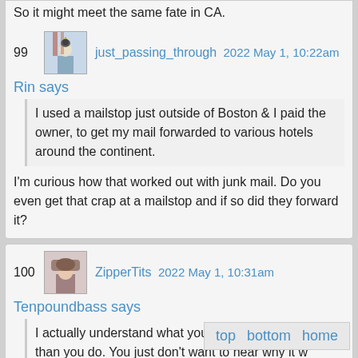So it might meet the same fate in CA.
99  just_passing_through  2022 May 1, 10:22am
Rin says
I used a mailstop just outside of Boston & I paid the owner, to get my mail forwarded to various hotels around the continent.
I'm curious how that worked out with junk mail. Do you even get that crap at a mailstop and if so did they forward it?
100  ZipperTits  2022 May 1, 10:31am
Tenpoundbass says
I actually understand what you're trying to do better than you do. You just don't want to hear why it w... Why didn't you just write your post and im...